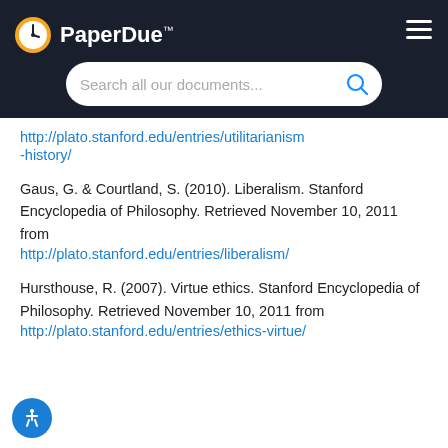[Figure (logo): PaperDue logo with clock icon and hamburger menu on dark header background, with search bar]
http://plato.stanford.edu/entries/utilitarianism-history/
Gaus, G. & Courtland, S. (2010). Liberalism. Stanford Encyclopedia of Philosophy. Retrieved November 10, 2011 from http://plato.stanford.edu/entries/liberalism/
Hursthouse, R. (2007). Virtue ethics. Stanford Encyclopedia of Philosophy. Retrieved November 10, 2011 from http://plato.stanford.edu/entries/ethics-virtue/